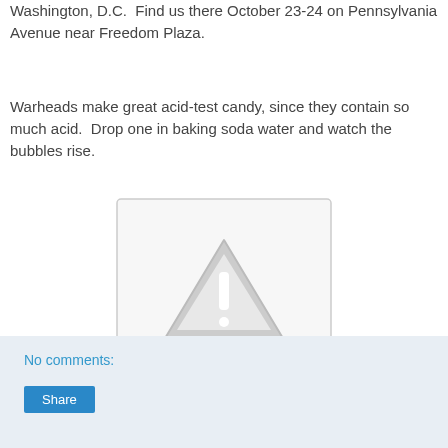Washington, D.C.  Find us there October 23-24 on Pennsylvania Avenue near Freedom Plaza.
Warheads make great acid-test candy, since they contain so much acid.  Drop one in baking soda water and watch the bubbles rise.
[Figure (illustration): A grey warning/caution triangle icon with an exclamation mark, inside a light grey bordered box — indicating a missing or unavailable image.]
No comments:
Share